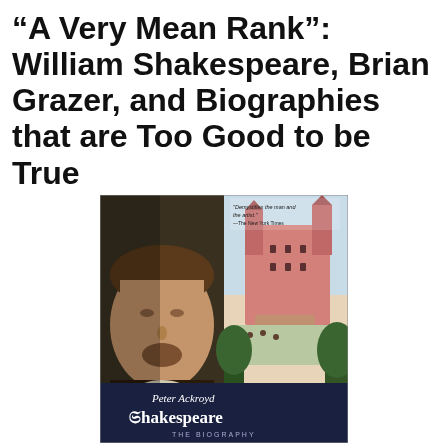“A Very Mean Rank”: William Shakespeare, Brian Grazer, and Biographies that are Too Good to be True
[Figure (photo): Book cover of 'Shakespeare: The Biography' by Peter Ackroyd. Left half shows a dark portrait of Shakespeare's face. Right half shows a medieval-style illustration of a pink castle/building with people below. Top has a quote: 'Demystifies the man and the artist.' —The New York Times. Bottom shows author name 'Peter Ackroyd' and title 'Shakespeare THE BIOGRAPHY' in gothic and serif fonts on a dark navy background.]